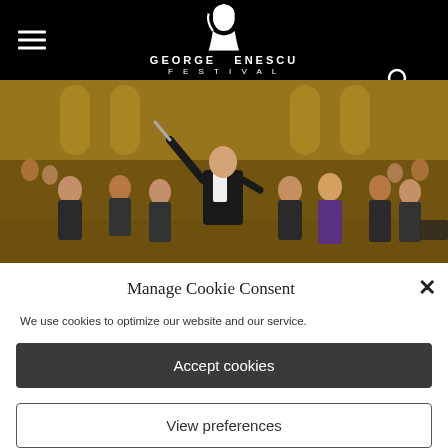George Enescu Festival
[Figure (photo): Orchestra performance on stage; conductor in tuxedo with raised baton, musicians in background in a golden concert hall]
Manage Cookie Consent
We use cookies to optimize our website and our service.
Accept cookies
Deny
View preferences